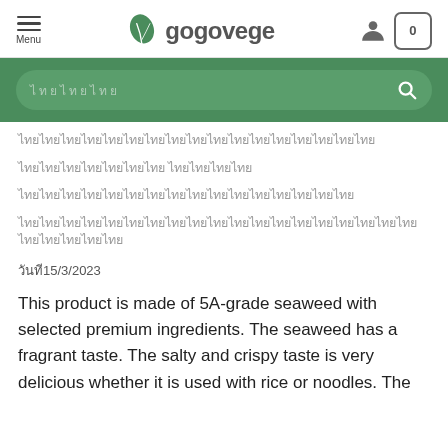gogovege — Menu, search bar, user icon, cart (0)
[Figure (screenshot): Green search bar with placeholder Thai text and search icon]
Thai text line 1
Thai text line 2
Thai text line 3
Thai text line 4
วันที่15/3/2023
This product is made of 5A-grade seaweed with selected premium ingredients. The seaweed has a fragrant taste. The salty and crispy taste is very delicious whether it is used with rice or noodles. The